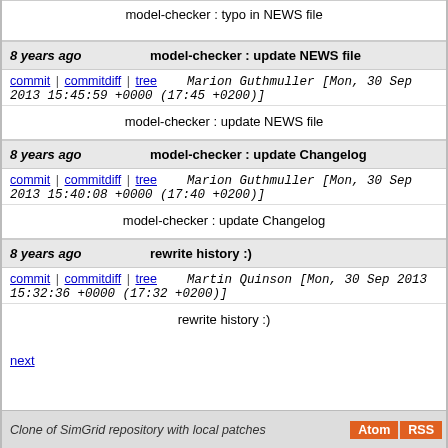model-checker : typo in NEWS file
8 years ago   model-checker : update NEWS file
commit | commitdiff | tree   Marion Guthmuller [Mon, 30 Sep 2013 15:45:59 +0000 (17:45 +0200)]
model-checker : update NEWS file
8 years ago   model-checker : update Changelog
commit | commitdiff | tree   Marion Guthmuller [Mon, 30 Sep 2013 15:40:08 +0000 (17:40 +0200)]
model-checker : update Changelog
8 years ago   rewrite history :)
commit | commitdiff | tree   Martin Quinson [Mon, 30 Sep 2013 15:32:36 +0000 (17:32 +0200)]
rewrite history :)
next
Clone of SimGrid repository with local patches